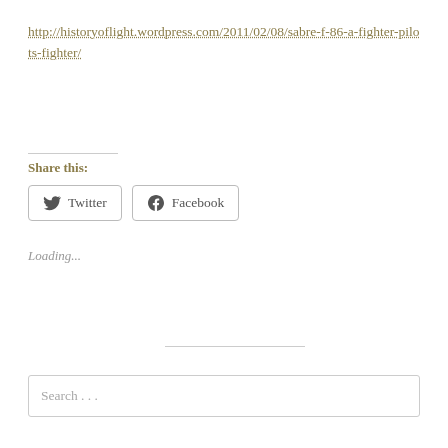http://historyoflight.wordpress.com/2011/02/08/sabre-f-86-a-fighter-pilots-fighter/
Share this:
Twitter
Facebook
Loading...
Search . . .